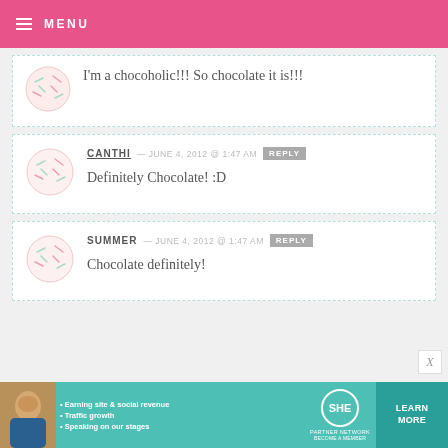MENU
I'm a chocoholic!!! So chocolate it is!!!
CANTHI — JUNE 4, 2012 @ 1:47 AM REPLY
Definitely Chocolate! :D
SUMMER — JUNE 4, 2012 @ 1:47 AM REPLY
Chocolate definitely!
[Figure (infographic): SHE Partner Network advertisement banner with woman photo, bullet points about earning site & social revenue, traffic growth, speaking on our stages, and a Learn More button]